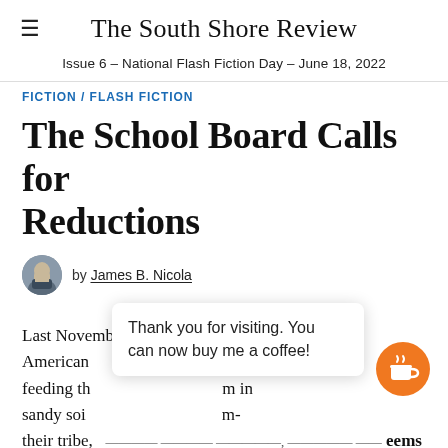The South Shore Review
Issue 6 – National Flash Fiction Day – June 18, 2022
FICTION / FLASH FICTION
The School Board Calls for Reductions
by James B. Nicola
Last November we learned how the original American s by feeding th m in sandy soi m- their tribe, ... just some really, much ... seems they
Thank you for visiting. You can now buy me a coffee!